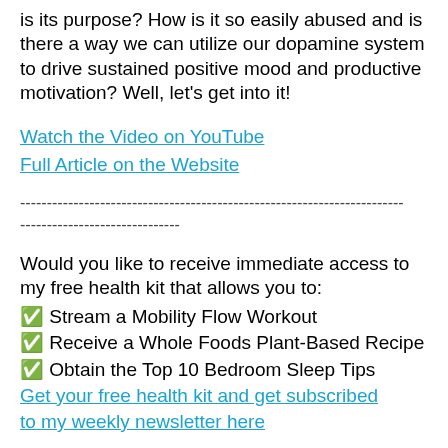is its purpose? How is it so easily abused and is there a way we can utilize our dopamine system to drive sustained positive mood and productive motivation? Well, let's get into it!
Watch the Video on YouTube
Full Article on the Website
------------------------------------------------------------------------
------------------------------
Would you like to receive immediate access to my free health kit that allows you to:
✅ Stream a Mobility Flow Workout
✅ Receive a Whole Foods Plant-Based Recipe
✅ Obtain the Top 10 Bedroom Sleep Tips
Get your free health kit and get subscribed to my weekly newsletter here